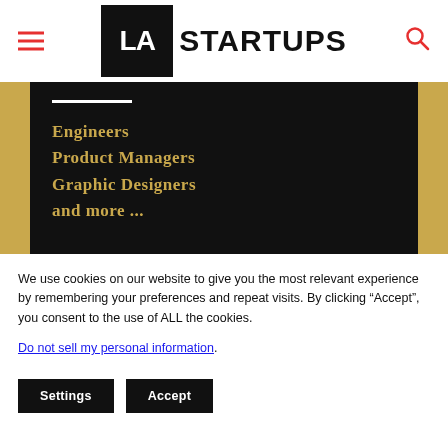LA STARTUPS
[Figure (screenshot): Banner image with gold background and black inner panel. White horizontal rule followed by gold text lines: 'Engineers', 'Product Managers', 'Graphic Designers', 'and more ...']
We use cookies on our website to give you the most relevant experience by remembering your preferences and repeat visits. By clicking “Accept”, you consent to the use of ALL the cookies.
Do not sell my personal information.
Settings   Accept